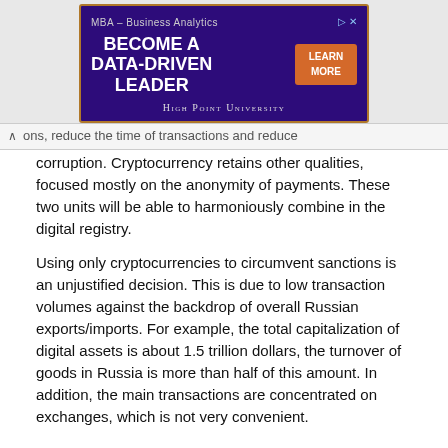[Figure (other): Advertisement banner for High Point University MBA – Business Analytics program with purple background, 'BECOME A DATA-DRIVEN LEADER' headline and orange 'LEARN MORE' button]
ons, reduce the time of transactions and reduce corruption. Cryptocurrency retains other qualities, focused mostly on the anonymity of payments. These two units will be able to harmoniously combine in the digital registry.
Using only cryptocurrencies to circumvent sanctions is an unjustified decision. This is due to low transaction volumes against the backdrop of overall Russian exports/imports. For example, the total capitalization of digital assets is about 1.5 trillion dollars, the turnover of goods in Russia is more than half of this amount. In addition, the main transactions are concentrated on exchanges, which is not very convenient.
Results
In anticipation of the introduction of the digital ruble in Russia, you need to understand the consequences of such a step. The appearance of an internal “token” will be invisible to ordinary citizens from the standpoint of convenience, but will expand the powers of the Central Bank of the